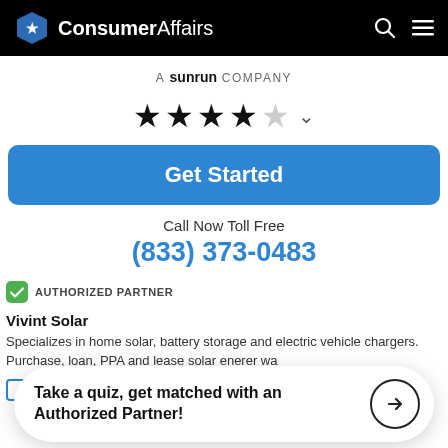ConsumerAffairs
A SUNRUN COMPANY
[Figure (other): 4 out of 5 stars rating with dropdown chevron]
Get Started
Call Now Toll Free
(833) 373-0483
AUTHORIZED PARTNER
Vivint Solar
Specializes in home solar, battery storage and electric vehicle chargers. Purchase, loan, PPA and lease solar ene... er wa...
Take a quiz, get matched with an Authorized Partner!